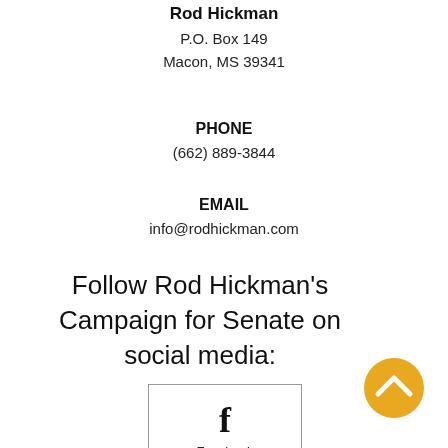Rod Hickman
P.O. Box 149
Macon, MS 39341
PHONE
(662) 889-3844
EMAIL
info@rodhickman.com
Follow Rod Hickman's Campaign for Senate on social media:
[Figure (logo): Facebook logo icon with 'f' symbol inside a bordered box with label 'Facebook']